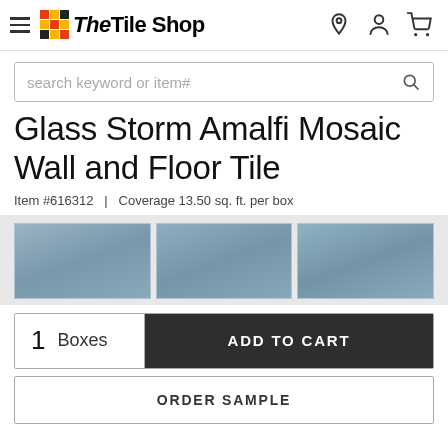[Figure (logo): The Tile Shop logo with colorful grid icon and bold italic text, plus hamburger menu]
[Figure (screenshot): Search bar with placeholder text 'search keyword or item#' and magnifying glass icon]
Glass Storm Amalfi Mosaic Wall and Floor Tile
Item #616312  |  Coverage 13.50 sq. ft. per box
[Figure (photo): Three blue-grey glass mosaic tiles displayed side by side]
1  Boxes  ADD TO CART
ORDER SAMPLE